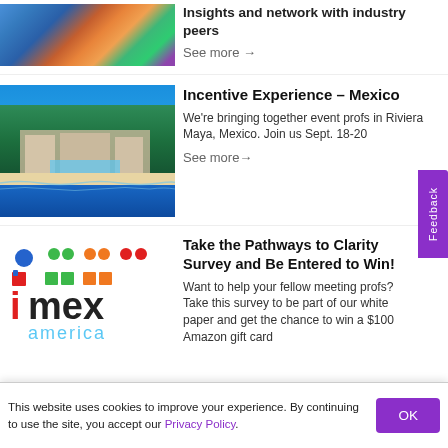[Figure (photo): Aerial/resort photo partially visible at top]
Insights and network with industry peers
See more →
[Figure (photo): Aerial photo of Riviera Maya resort with ocean view]
Incentive Experience – Mexico
We're bringing together event profs in Riviera Maya, Mexico. Join us Sept. 18-20
See more →
[Figure (logo): IMEX America logo with colored dots above text]
Take the Pathways to Clarity Survey and Be Entered to Win!
Want to help your fellow meeting profs? Take this survey to be part of our white paper and get the chance to win a $100 Amazon gift card
This website uses cookies to improve your experience. By continuing to use the site, you accept our Privacy Policy.